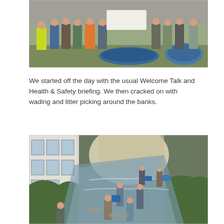[Figure (photo): Group of people standing outdoors next to blue boats/canoes on grass, some wearing high-visibility vests and waders, with trees in background.]
We started off the day with the usual Welcome Talk and Health & Safety briefing. We then cracked on with wading and litter picking around the banks.
[Figure (photo): People wading in a narrow urban waterway/stream, carrying blue containers, with vegetation on banks and a building visible on the left side.]